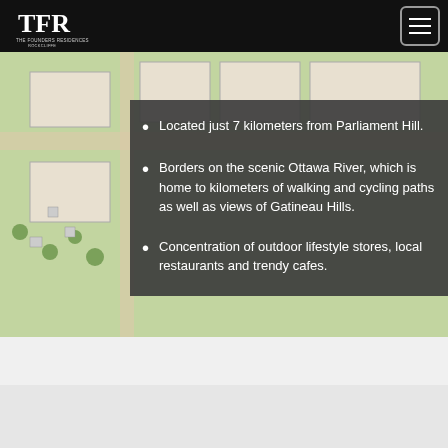THE FOUNDERS RESIDENCES ROCKCLIFFE
[Figure (illustration): Site plan/architectural overhead map of The Founders Residences Rockcliffe development showing building layouts and green spaces]
Located just 7 kilometers from Parliament Hill.
Borders on the scenic Ottawa River, which is home to kilometers of walking and cycling paths as well as views of Gatineau Hills.
Concentration of outdoor lifestyle stores, local restaurants and trendy cafes.